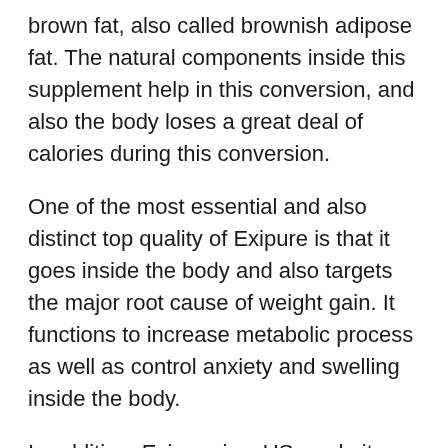brown fat, also called brownish adipose fat. The natural components inside this supplement help in this conversion, and also the body loses a great deal of calories during this conversion.
One of the most essential and also distinct top quality of Exipure is that it goes inside the body and also targets the major root cause of weight gain. It functions to increase metabolic process as well as control anxiety and swelling inside the body.
In addition, Exipure is a US-made item prepared in an FDA-approved and also GMP-certified facility. The final product is checked with a third-party laboratory for top quality as well as safety. There